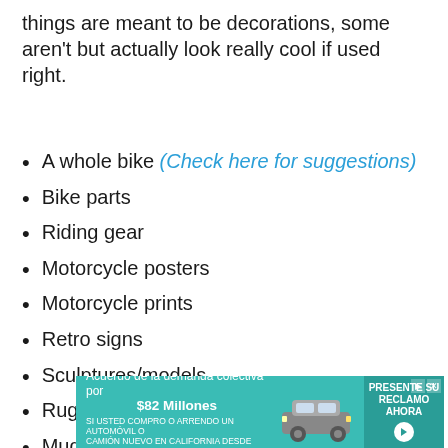things are meant to be decorations, some aren't but actually look really cool if used right.
A whole bike (Check here for suggestions)
Bike parts
Riding gear
Motorcycle posters
Motorcycle prints
Retro signs
Sculptures/models
Rug
Mugs
[Figure (other): Advertisement banner in teal/green color: 'Acuerdo de la demanda colectiva por $82 Millones. SI USTED COMPRO O ARRENDO UN AUTOMÓVIL O CAMIÓN NUEVO EN CALIFORNIA DESDE 2001 A 2003'. Shows a car image and 'PRESENTE SU RECLAMO AHORA' call-to-action button.]